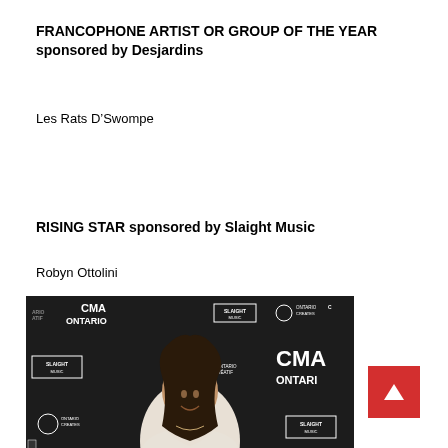FRANCOPHONE ARTIST OR GROUP OF THE YEAR sponsored by Desjardins
Les Rats D’Swompe
RISING STAR sponsored by Slaight Music
Robyn Ottolini
[Figure (photo): Robyn Ottolini standing in front of a dark CMA Ontario / Slaight Music / Ontario Creates branded backdrop, smiling, wearing a white blazer, with long dark hair.]
[Figure (other): Red back-to-top arrow button in bottom right corner.]